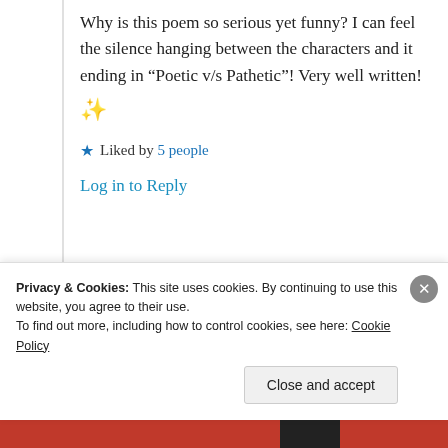Why is this poem so serious yet funny? I can feel the silence hanging between the characters and it ending in “Poetic v/s Pathetic”! Very well written! ✨
Liked by 5 people
Log in to Reply
Suma Reddy
Privacy & Cookies: This site uses cookies. By continuing to use this website, you agree to their use. To find out more, including how to control cookies, see here: Cookie Policy
Close and accept